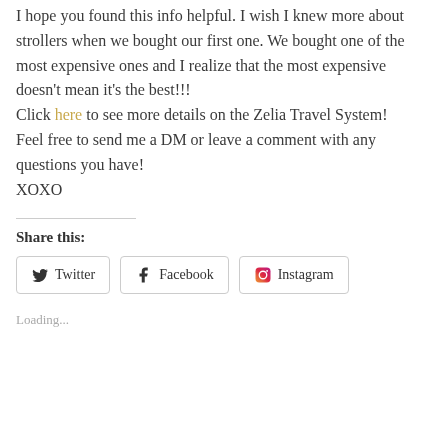I hope you found this info helpful. I wish I knew more about strollers when we bought our first one. We bought one of the most expensive ones and I realize that the most expensive doesn't mean it's the best!!! Click here to see more details on the Zelia Travel System! Feel free to send me a DM or leave a comment with any questions you have! XOXO
Share this:
Twitter Facebook Instagram
Loading...